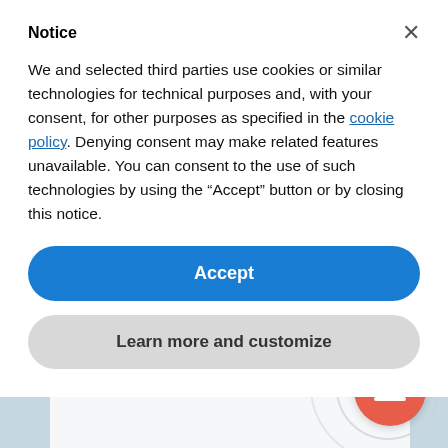Notice
We and selected third parties use cookies or similar technologies for technical purposes and, with your consent, for other purposes as specified in the cookie policy. Denying consent may make related features unavailable. You can consent to the use of such technologies by using the “Accept” button or by closing this notice.
Accept
Learn more and customize
The Power Of Adaptability
The Power Of Adaptability Did you know that the ancient Chinese symbol for “crisis” is precisely the same as the